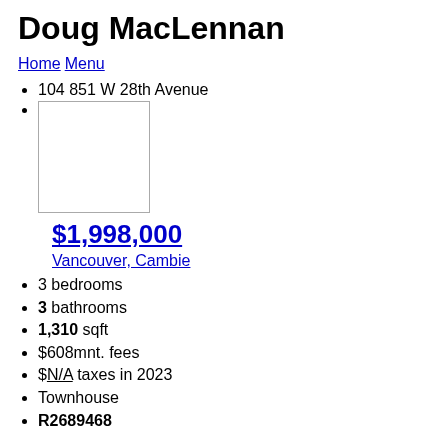Doug MacLennan
Home   Menu
104 851 W 28th Avenue
[Figure (photo): Property photo placeholder image (white rectangle with border)]
$1,998,000
Vancouver, Cambie
3 bedrooms
3 bathrooms
1,310 sqft
$608mnt. fees
$N/A taxes in 2023
Townhouse
R2689468